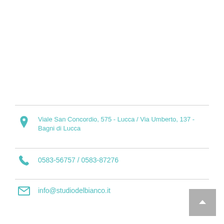Viale San Concordio, 575 - Lucca / Via Umberto, 137 - Bagni di Lucca
0583-56757 / 0583-87276
info@studiodelbianco.it